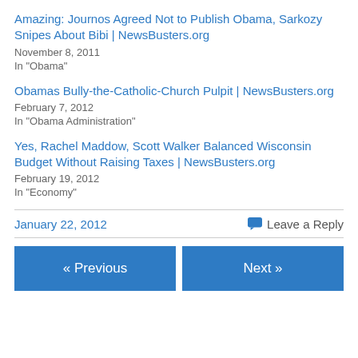Amazing: Journos Agreed Not to Publish Obama, Sarkozy Snipes About Bibi | NewsBusters.org
November 8, 2011
In "Obama"
Obamas Bully-the-Catholic-Church Pulpit | NewsBusters.org
February 7, 2012
In "Obama Administration"
Yes, Rachel Maddow, Scott Walker Balanced Wisconsin Budget Without Raising Taxes | NewsBusters.org
February 19, 2012
In "Economy"
January 22, 2012    Leave a Reply
« Previous    Next »